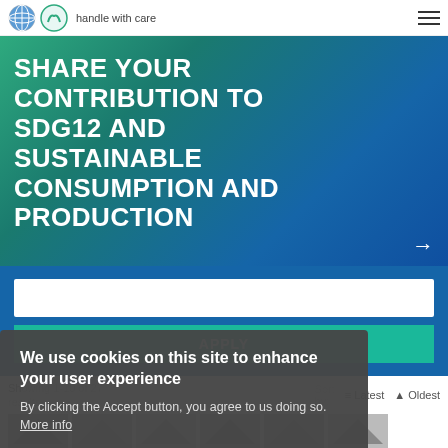handle with care
SHARE YOUR CONTRIBUTION TO SDG12 AND SUSTAINABLE CONSUMPTION AND PRODUCTION
[Figure (screenshot): Search input field and APPLY button on blue background]
Showing 1-10 of 27 results
Sort by: Latest Oldest
We use cookies on this site to enhance your user experience
By clicking the Accept button, you agree to us doing so. More info
ACCEPT
NO, THANKS